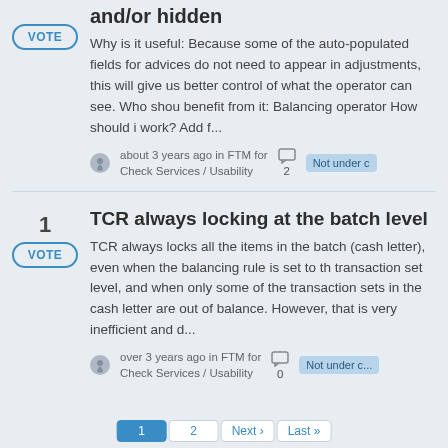and/or hidden
Why is it useful: Because some of the auto-populated fields for advices do not need to appear in adjustments, this will give us better control of what the operator can see. Who should benefit from it: Balancing operator How should it work? Add f...
about 3 years ago in FTM for Check Services / Usability
Not under c...
2
TCR always locking at the batch level
TCR always locks all the items in the batch (cash letter), even when the balancing rule is set to the transaction set level, and when only some of the transaction sets in the cash letter are out of balance. However, that is very inefficient and d...
over 3 years ago in FTM for Check Services / Usability
Not under c...
0